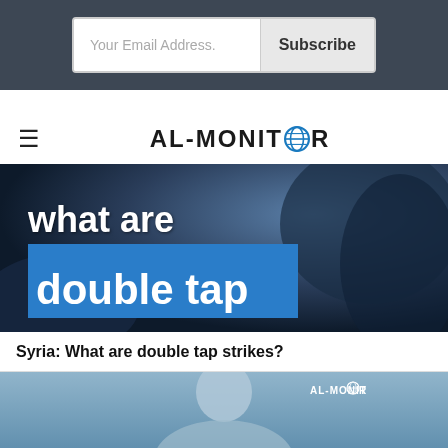Your Email Address. Subscribe
AL-MONITOR
[Figure (photo): Hero image with text overlay reading 'What are double tap' on a dark blue background]
Syria: What are double tap strikes?
[Figure (photo): Photo of a grey-haired man on a blue background with AL-MONITOR logo watermark in top right]